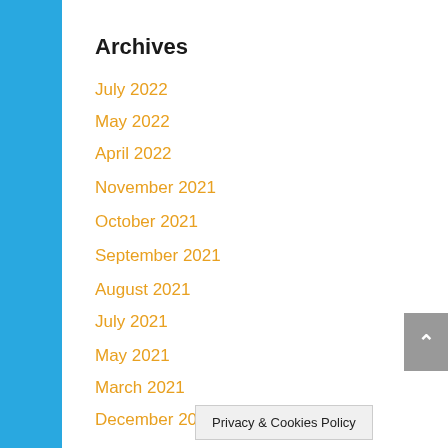Archives
July 2022
May 2022
April 2022
November 2021
October 2021
September 2021
August 2021
July 2021
May 2021
March 2021
December 2020
November 2020
October 2020
Privacy & Cookies Policy